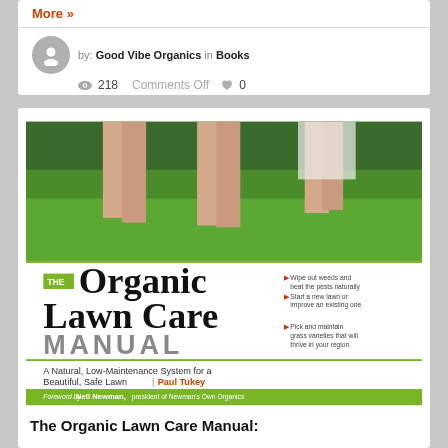More »
by: Good Vibe Organics in Books
218   Comments Off   0
[Figure (illustration): Book cover of 'The Organic Lawn Care Manual' by Paul Tukey. Top half shows three people's bare legs standing on green grass. Bottom half shows the book title with bullet points listing: Wipe out weeds and beat the pests naturally; Start a new lawn or improve an existing one; Pick and maintain grass varieties that will thrive in your region. Subtitle reads: A Natural, Low-Maintenance System for a Beautiful, Safe Lawn. Green footer bar with foreword credit to Nell Newman, president of Newman's Own Organics.]
The Organic Lawn Care Manual: